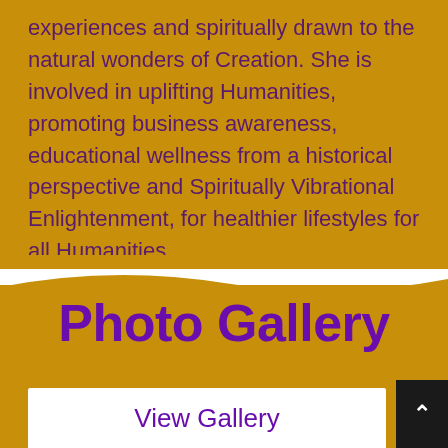experiences and spiritually drawn to the natural wonders of Creation. She is involved in uplifting Humanities, promoting business awareness, educational wellness from a historical perspective and Spiritually Vibrational Enlightenment, for healthier lifestyles for all Humanities.
Photo Gallery
View Gallery